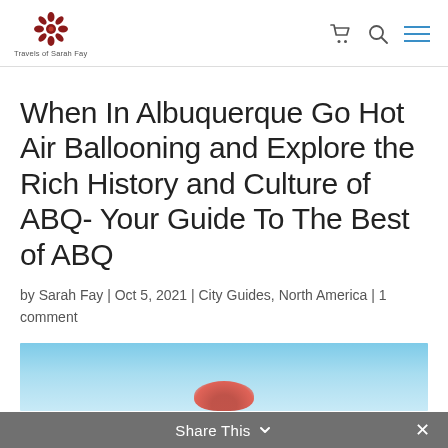Travels of Sarah Fay
When In Albuquerque Go Hot Air Ballooning and Explore the Rich History and Culture of ABQ- Your Guide To The Best of ABQ
by Sarah Fay | Oct 5, 2021 | City Guides, North America | 1 comment
[Figure (photo): Hot air balloon photo, partial view showing blue sky and balloon]